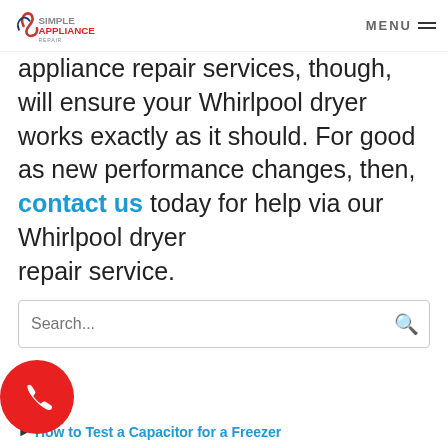Simple Appliance | MENU
appliance repair services, though, will ensure your Whirlpool dryer works exactly as it should. For good as new performance changes, then, contact us today for help via our Whirlpool dryer repair service.
Search...
Recent Posts
How to Test a Capacitor for a Freezer